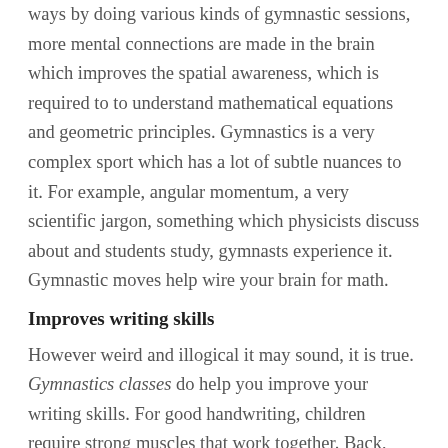ways by doing various kinds of gymnastic sessions, more mental connections are made in the brain which improves the spatial awareness, which is required to to understand mathematical equations and geometric principles. Gymnastics is a very complex sport which has a lot of subtle nuances to it. For example, angular momentum, a very scientific jargon, something which physicists discuss about and students study, gymnasts experience it. Gymnastic moves help wire your brain for math.
Improves writing skills
However weird and illogical it may sound, it is true. Gymnastics classes do help you improve your writing skills. For good handwriting, children require strong muscles that work together. Back, abs, shoulders, forearm, fingers and wrists are some of the muscles which are strengthened and engaged during bar work, all of which muscles are involved in writing as